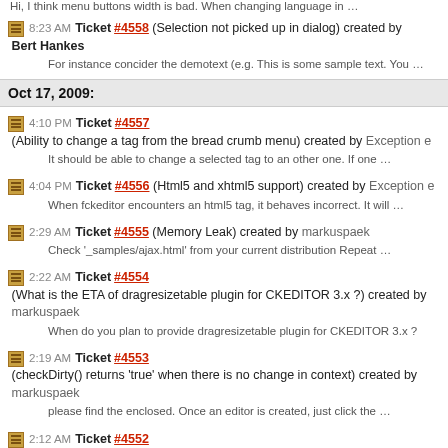Hi, I think menu buttons width is bad. When changing language in …
8:23 AM Ticket #4558 (Selection not picked up in dialog) created by Bert Hankes
For instance concider the demotext (e.g. This is some sample text. You …
Oct 17, 2009:
4:10 PM Ticket #4557 (Ability to change a tag from the bread crumb menu) created by Exception e
It should be able to change a selected tag to an other one. If one …
4:04 PM Ticket #4556 (Html5 and xhtml5 support) created by Exception e
When fckeditor encounters an html5 tag, it behaves incorrect. It will …
2:29 AM Ticket #4555 (Memory Leak) created by markuspaek
Check '_samples/ajax.html' from your current distribution Repeat …
2:22 AM Ticket #4554 (What is the ETA of dragresizetable plugin for CKEDITOR 3.x ?) created by markuspaek
When do you plan to provide dragresizetable plugin for CKEDITOR 3.x ?
2:19 AM Ticket #4553 (checkDirty() returns 'true' when there is no change in context) created by markuspaek
please find the enclosed. Once an editor is created, just click the …
2:12 AM Ticket #4552 (Float panel menu will not respond after the editor instance is re-created.) created by markuspaek